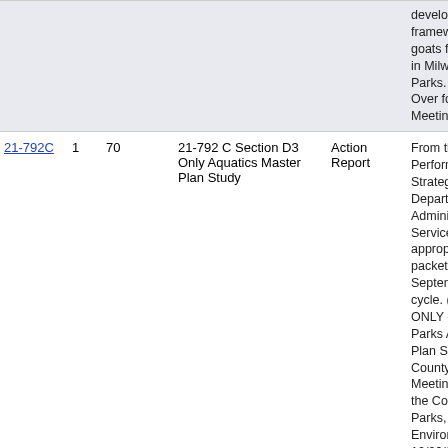| ID |  |  |  | Title | Type | Description |
| --- | --- | --- | --- | --- | --- | --- |
|  |  |  |  |  |  | development framework goats for la in Milwauk Parks. (10/ Over for O Meeting) |
| 21-792C | 1 | 70 |  | 21-792 C Section D3 Only Aquatics Master Plan Study | Action Report | From the D Performance Strategy, a Department Administra Services, p appropriati packet for September cycle. (SE ONLY - W Parks Aqu Plan Study County Bo Meeting: R the Comm Parks, Ene Environme 10/26/21: for One M |
| 21-792C | 1 |  |  | 21-792 C Section | Action | From the |